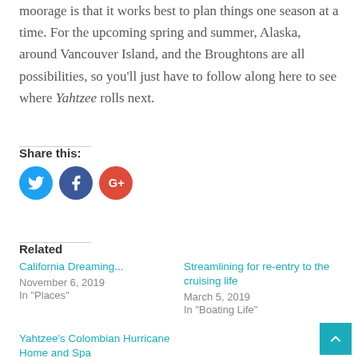moorage is that it works best to plan things one season at a time. For the upcoming spring and summer, Alaska, around Vancouver Island, and the Broughtons are all possibilities, so you'll just have to follow along here to see where Yahtzee rolls next.
Share this:
[Figure (infographic): Three social media sharing buttons: Twitter (blue circle), Facebook (dark blue circle), Google+ (red circle)]
Related
California Dreaming...
November 6, 2019
In "Places"
Streamlining for re-entry to the cruising life
March 5, 2019
In "Boating Life"
Yahtzee's Colombian Hurricane Home and Spa